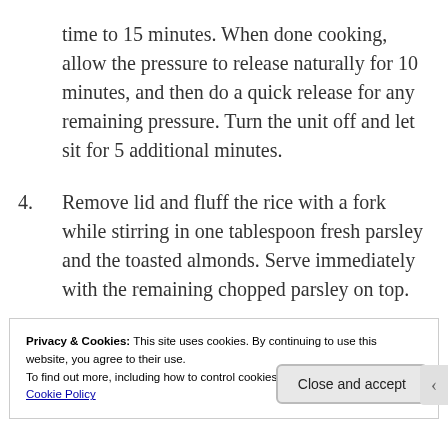time to 15 minutes. When done cooking, allow the pressure to release naturally for 10 minutes, and then do a quick release for any remaining pressure. Turn the unit off and let sit for 5 additional minutes.
4. Remove lid and fluff the rice with a fork while stirring in one tablespoon fresh parsley and the toasted almonds. Serve immediately with the remaining chopped parsley on top.
Privacy & Cookies: This site uses cookies. By continuing to use this website, you agree to their use.
To find out more, including how to control cookies, see here:
Cookie Policy